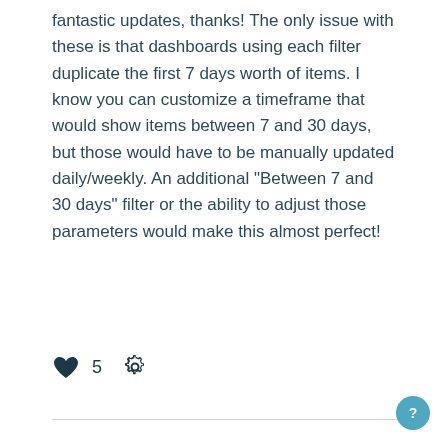fantastic updates, thanks! The only issue with these is that dashboards using each filter duplicate the first 7 days worth of items. I know you can customize a timeframe that would show items between 7 and 30 days, but those would have to be manually updated daily/weekly. An additional "Between 7 and 30 days" filter or the ability to adjust those parameters would make this almost perfect!
[Figure (other): Heart icon with like count 5 and gear/settings icon]
[Figure (other): Horizontal divider line and circular help button with question mark]